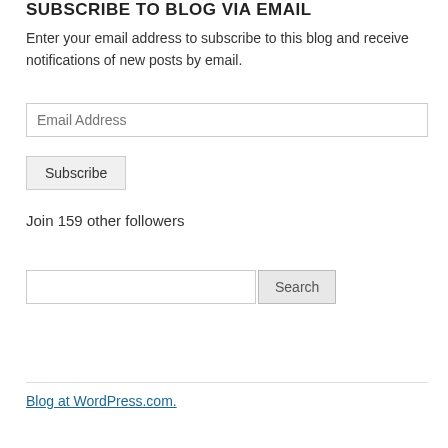SUBSCRIBE TO BLOG VIA EMAIL
Enter your email address to subscribe to this blog and receive notifications of new posts by email.
Email Address
Subscribe
Join 159 other followers
Search
Blog at WordPress.com.